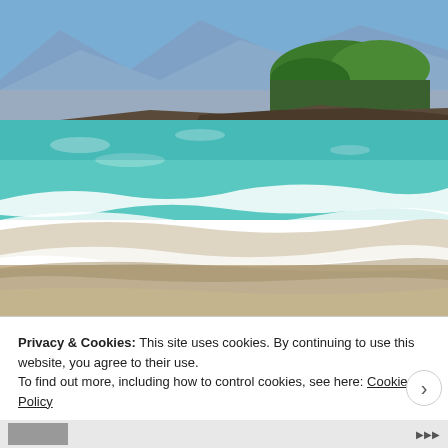[Figure (photo): Tropical beach scene with turquoise ocean waves washing onto sandy shore, rocky coastline with green trees and mountains in the background under a blue sky.]
Privacy & Cookies: This site uses cookies. By continuing to use this website, you agree to their use.
To find out more, including how to control cookies, see here: Cookie Policy
Close and accept